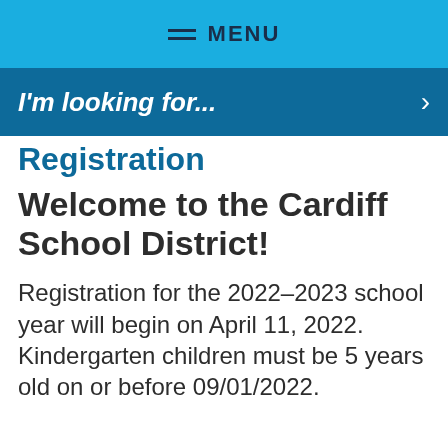MENU
I'm looking for...
Registration
Welcome to the Cardiff School District!
Registration for the 2022–2023 school year will begin on April 11, 2022. Kindergarten children must be 5 years old on or before 09/01/2022.